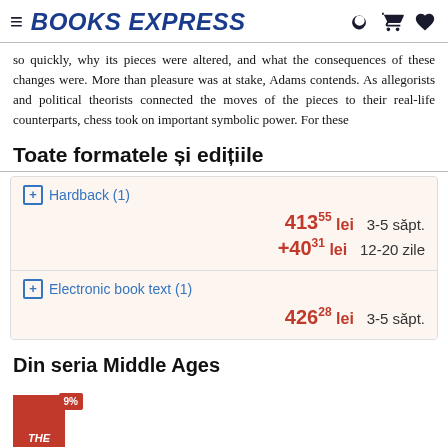BOOKS EXPRESS
so quickly, why its pieces were altered, and what the consequences of these changes were. More than pleasure was at stake, Adams contends. As allegorists and political theorists connected the moves of the pieces to their real-life counterparts, chess took on important symbolic power. For these
Toate formatele și edițiile
| Format | Price | Delivery |
| --- | --- | --- |
| Hardback (1) | 413µµ lei | 3-5 săpt. |
|  | +40³¹ lei | 12-20 zile |
| Electronic book text (1) | 426²⁸ lei | 3-5 săpt. |
Din seria Middle Ages